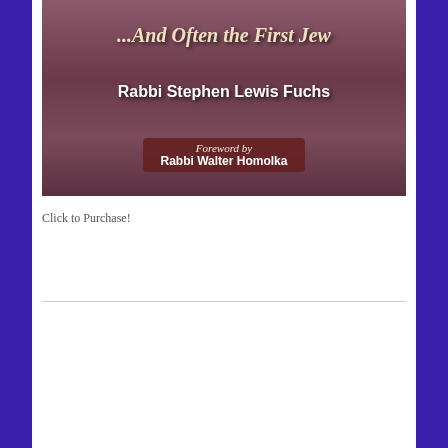[Figure (illustration): Book cover for 'What the Torah Tells Us about the First Jew' by Rabbi Stephen Lewis Fuchs, with Foreword by Rabbi Walter Homolka. Dark reddish-brown background with historical crowd scene imagery.]
Click to Purchase!
[Figure (illustration): Book cover for 'Glimpsing A Half Century Through Rabbinic Eyes' showing a panoramic view of Jerusalem with the Dome of the Rock. Gray/cloudy sky background with dark horizontal lines framing the title text in bold blue.]